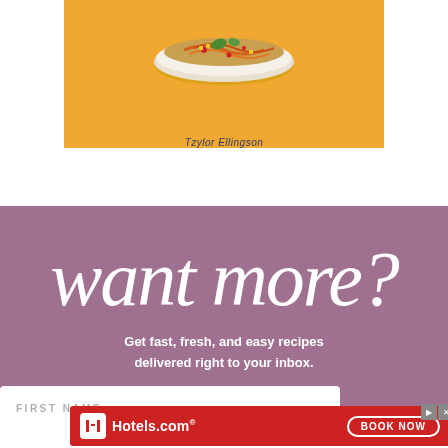[Figure (photo): Book cover with yellow/orange background showing a bowl of food (noodles/pasta dish with toppings), author name 'Tzylor Ellingson' at bottom]
[Figure (infographic): Purple promotional banner with cursive 'want more?' text and subtext 'Get fast, fresh, and easy recipes delivered right to your inbox.' with a form field for FIRST NAME]
[Figure (infographic): Hotels.com advertisement banner with red background, Hotels.com logo, and 'BOOK NOW' button]